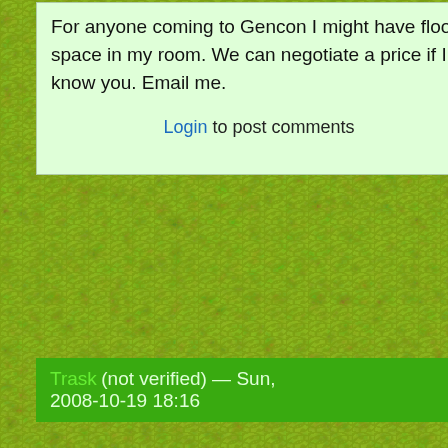For anyone coming to Gencon I might have floor space in my room. We can negotiate a price if I know you. Email me.
Login to post comments
Trask (not verified) — Sun, 2008-10-19 18:16
Just as an FYI, I finally got the bankruptcy plan for Gen Con. There is some fun stuff in there about potential sale of the company and how they plan on running the company going forward. I know you did a followup post on my original post and thought you might be interested.
http://www.livingdice.com/index.php/366-